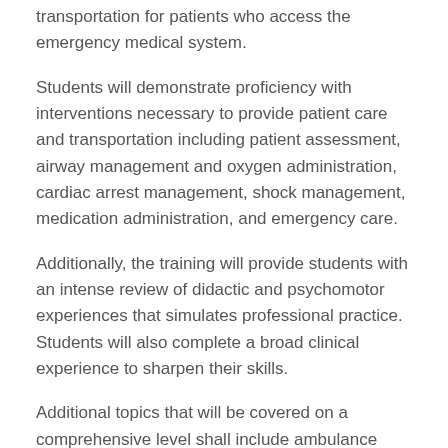transportation for patients who access the emergency medical system.
Students will demonstrate proficiency with interventions necessary to provide patient care and transportation including patient assessment, airway management and oxygen administration, cardiac arrest management, shock management, medication administration, and emergency care.
Additionally, the training will provide students with an intense review of didactic and psychomotor experiences that simulates professional practice. Students will also complete a broad clinical experience to sharpen their skills.
Additional topics that will be covered on a comprehensive level shall include ambulance service management, concepts of lifelong learning, quality improvement, and the ALS providers' role in the community. Students will have the opportunity to perfect assessment-based management through a case scenario